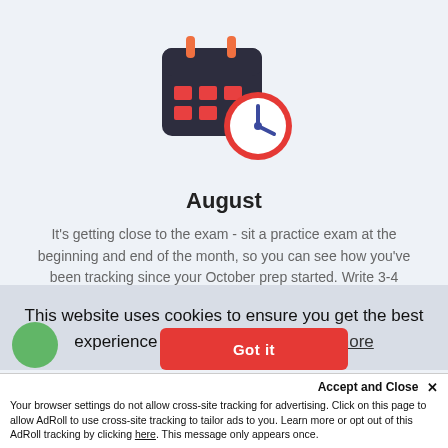[Figure (illustration): Calendar icon with orange/red grid cells and a clock icon overlaid on the bottom-right, both in dark navy and red/orange colors]
August
It's getting close to the exam - sit a practice exam at the beginning and end of the month, so you can see how you've been tracking since your October prep started. Write 3-4 essays a week and get them marked by a professional to ensure you're on track
This website uses cookies to ensure you get the best experience on our website. Learn more
Accept and Close ✕
Your browser settings do not allow cross-site tracking for advertising. Click on this page to allow AdRoll to use cross-site tracking to tailor ads to you. Learn more or opt out of this AdRoll tracking by clicking here. This message only appears once.